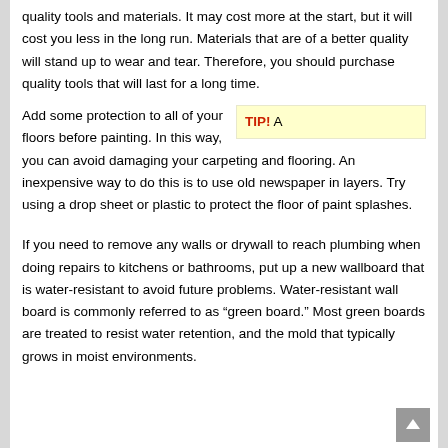quality tools and materials. It may cost more at the start, but it will cost you less in the long run. Materials that are of a better quality will stand up to wear and tear. Therefore, you should purchase quality tools that will last for a long time.
Add some protection to all of your floors before painting. In this way, you can avoid damaging your carpeting and flooring. An inexpensive way to do this is to use old newspaper in layers. Try using a drop sheet or plastic to protect the floor of paint splashes.
TIP! A
If you need to remove any walls or drywall to reach plumbing when doing repairs to kitchens or bathrooms, put up a new wallboard that is water-resistant to avoid future problems. Water-resistant wall board is commonly referred to as “green board.” Most green boards are treated to resist water retention, and the mold that typically grows in moist environments.